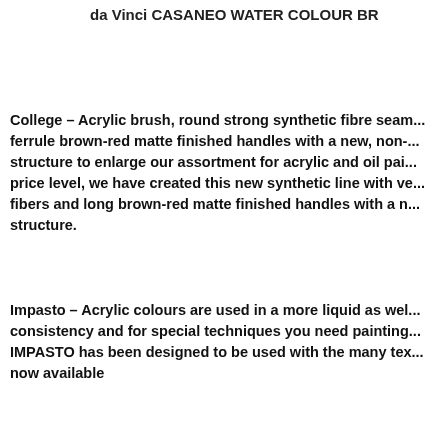da Vinci CASANEO WATER COLOUR BR
College – Acrylic brush, round strong synthetic fibre seam... ferrule brown-red matte finished handles with a new, non-... structure to enlarge our assortment for acrylic and oil pai... price level, we have created this new synthetic line with ve... fibers and long brown-red matte finished handles with a n... structure.
Impasto – Acrylic colours are used in a more liquid as wel... consistency and for special techniques you need painting... IMPASTO has been designed to be used with the many tex... now available